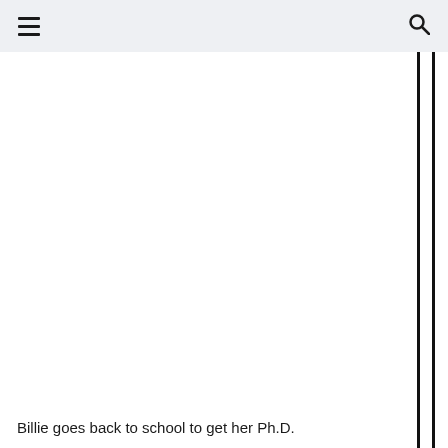≡  🔍
Billie goes back to school to get her Ph.D.